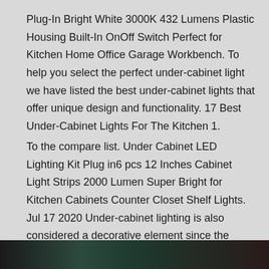Plug-In Bright White 3000K 432 Lumens Plastic Housing Built-In OnOff Switch Perfect for Kitchen Home Office Garage Workbench. To help you select the perfect under-cabinet light we have listed the best under-cabinet lights that offer unique design and functionality. 17 Best Under-Cabinet Lights For The Kitchen 1.
To the compare list. Under Cabinet LED Lighting Kit Plug in6 pcs 12 Inches Cabinet Light Strips 2000 Lumen Super Bright for Kitchen Cabinets Counter Closet Shelf Lights. Jul 17 2020 Under-cabinet lighting is also considered a decorative element since the lower height of the light can show off a backsplash pattern better just as puck lights can highlight workspaces in the.
[Figure (photo): Dark photo strip at the bottom of the page showing what appears to be under-cabinet lighting in a kitchen setting]